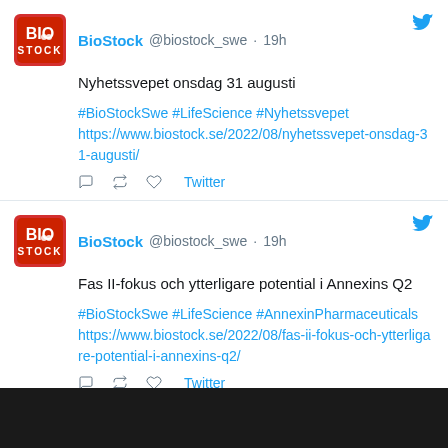[Figure (screenshot): BioStock Twitter/social media feed screenshot showing two tweets. First tweet: BioStock @biostock_swe · 19h - Nyhetssvepet onsdag 31 augusti - #BioStockSwe #LifeScience #Nyhetssvepet https://www.biostock.se/2022/08/nyhetssvepet-onsdag-31-augusti/. Second tweet: BioStock @biostock_swe · 19h - Fas II-fokus och ytterligare potential i Annexins Q2 - #BioStockSwe #LifeScience #AnnexinPharmaceuticals https://www.biostock.se/2022/08/fas-ii-fokus-och-ytterligare-potential-i-annexins-q2/. Load more button: Ladda fler.]